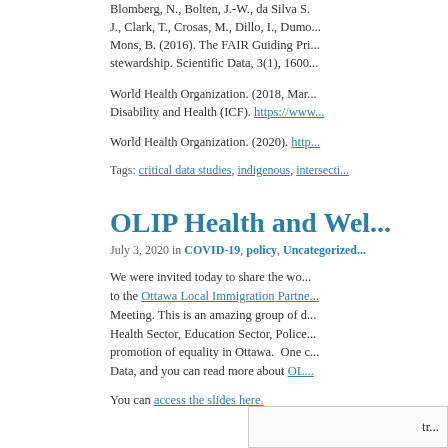Blomberg, N., Bolten, J.-W., da Silva S. J., Clark, T., Crosas, M., Dillo, I., Dumo... Mons, B. (2016). The FAIR Guiding Pri... stewardship. Scientific Data, 3(1), 1600...
World Health Organization. (2018, Mar... Disability and Health (ICF). https://www...
World Health Organization. (2020). http...
Tags: critical data studies, indigenous, intersecti...
OLIP Health and Wel...
July 3, 2020 in COVID-19, policy, Uncategorized...
We were invited today to share the wo... to the Ottawa Local Immigration Partne... Meeting. This is an amazing group of d... Health Sector, Education Sector, Police... promotion of equality in Ottawa. One c... Data, and you can read more about OL...
You can access the slides here.
tr...